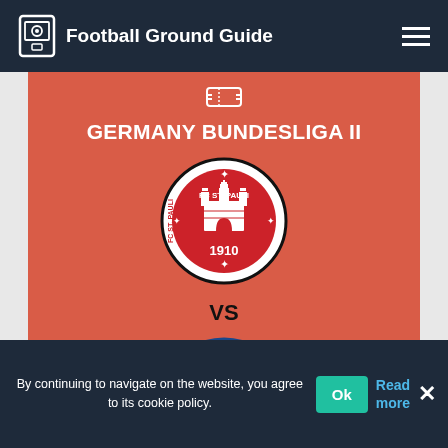Football Ground Guide
GERMANY BUNDESLIGA II
[Figure (logo): FC St. Pauli 1910 club crest — circular black and white badge with castle/church illustration and stars]
VS
[Figure (logo): SV Darmstadt club crest — circular blue and white badge with fleur-de-lis emblem]
By continuing to navigate on the website, you agree to its cookie policy.